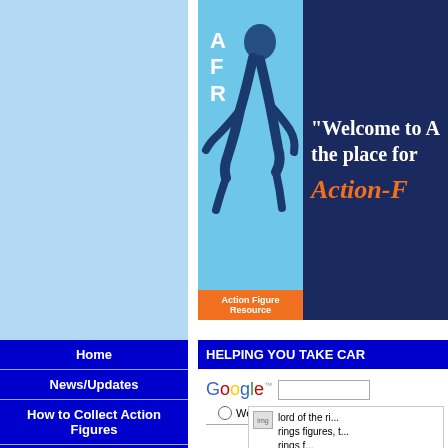[Figure (logo): Action Figure Resource (AFR) website banner with logo showing silhouette of running figure with A, F, R letters, light blue background on left, dark navy background on right with 'Welcome to A... the place for...' text and 'Action-F' in orange italic]
HELPING YOU TAKE CAR...
[Figure (screenshot): Google search bar with Google logo, search input box, Web and mcfarla... radio buttons]
[Figure (screenshot): Image placeholder with 'lord of the ri... rings figures, t... rings f...' text]
Home
News/Updates
How to Collect Action Figures
How to Grade Your Action Figures
Action Figures Wanted
Reviews
Video Reviews
Tutorials & Articles
Customs Corner
MANUFACTURERS